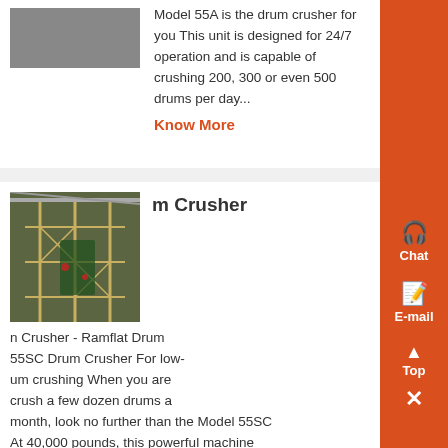Model 55A is the drum crusher for you This unit is designed for 24/7 operation and is capable of crushing 200, 300 or even 500 drums per day...
Know More
[Figure (photo): Industrial drum crusher machine inside a factory building with scaffolding structure]
m Crusher
Crusher - Ramflat Drum 55SC Drum Crusher For low-um crushing When you are crush a few dozen drums a month, look no further than the Model 55SC At 40,000 pounds, this powerful machine will crush a drum flat to 65 inches tall Yet, it is still economically priced...
Know More